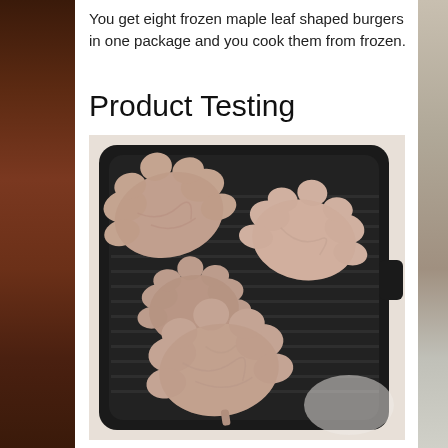You get eight frozen maple leaf shaped burgers in one package and you cook them from frozen.
Product Testing
[Figure (photo): Four maple leaf shaped frozen burgers on a black cast iron grill pan, photographed from above on a white surface.]